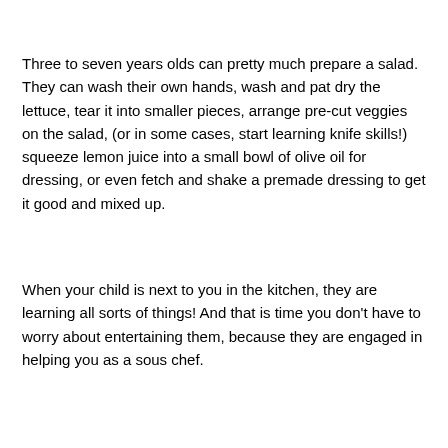Three to seven years olds can pretty much prepare a salad. They can wash their own hands, wash and pat dry the lettuce, tear it into smaller pieces, arrange pre-cut veggies on the salad, (or in some cases, start learning knife skills!) squeeze lemon juice into a small bowl of olive oil for dressing, or even fetch and shake a premade dressing to get it good and mixed up.
When your child is next to you in the kitchen, they are learning all sorts of things! And that is time you don't have to worry about entertaining them, because they are engaged in helping you as a sous chef.